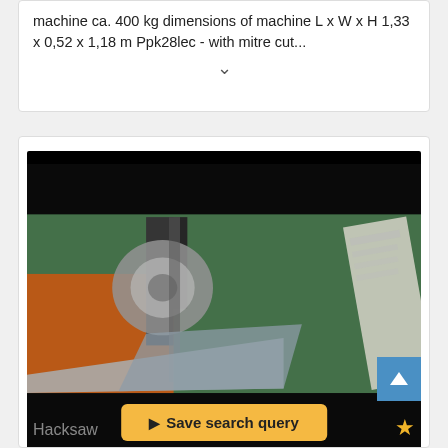machine ca. 400 kg dimensions of machine L x W x H 1,33 x 0,52 x 1,18 m Ppk28lec - with mitre cut...
[Figure (photo): Blurred photo of a hacksaw or industrial cutting machine with orange and metallic parts against a green background, with a paper/document visible on the right side. Black bars at top and bottom of frame.]
↑ Save search query
Hacksaw